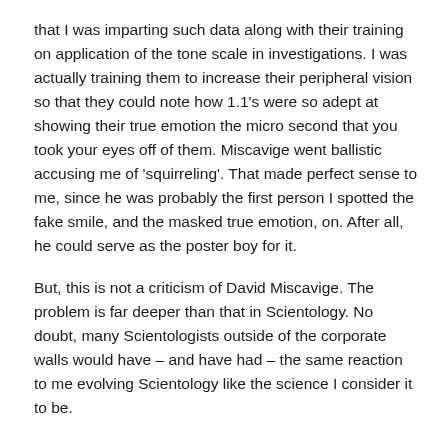that I was imparting such data along with their training on application of the tone scale in investigations.  I was actually training them to increase their peripheral vision so that they could note how 1.1's were so adept at showing their true emotion the micro second that you took your eyes off of them.  Miscavige went ballistic accusing me of 'squirreling'.  That made perfect sense to me, since he was probably the first person I spotted the fake smile, and the masked true emotion, on.  After all, he could serve as the poster boy for it.
But, this is not a criticism of David Miscavige.   The problem is far deeper than that in Scientology.  No doubt, many Scientologists outside of the corporate walls would have – and have had – the same reaction to me evolving Scientology like the science I consider it to be.